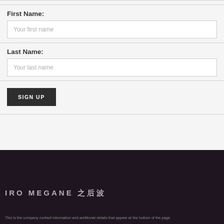First Name:
Your first name
Last Name:
Your last name
SIGN UP
IRO MEGANE 伊呂波
This is the company name and additional tagline text that is partially visible